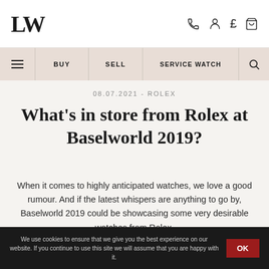LW [logo] — phone, account, currency, cart icons
≡  BUY  SELL  SERVICE WATCH  🔍
08.07.2021 - ROLEX
What's in store from Rolex at Baselworld 2019?
When it comes to highly anticipated watches, we love a good rumour. And if the latest whispers are anything to go by, Baselworld 2019 could be showcasing some very desirable watches from Rolex.
We use cookies to ensure that we give you the best experience on our website. If you continue to use this site we will assume that you are happy with it.  OK